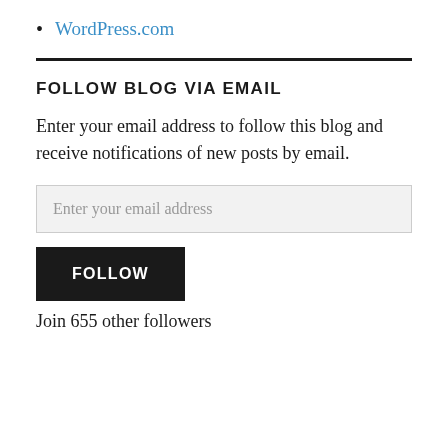WordPress.com
FOLLOW BLOG VIA EMAIL
Enter your email address to follow this blog and receive notifications of new posts by email.
Enter your email address
FOLLOW
Join 655 other followers